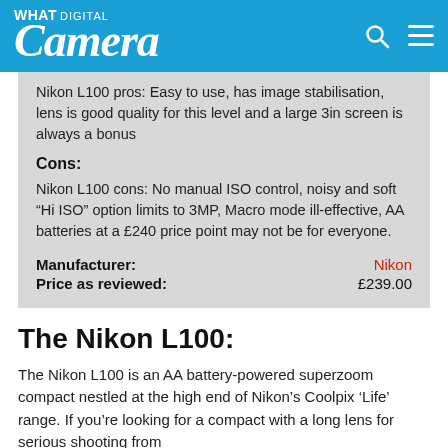What Digital Camera
Nikon L100 pros: Easy to use, has image stabilisation, lens is good quality for this level and a large 3in screen is always a bonus
Cons:
Nikon L100 cons: No manual ISO control, noisy and soft “Hi ISO” option limits to 3MP, Macro mode ill-effective, AA batteries at a £240 price point may not be for everyone.
Manufacturer: Nikon
Price as reviewed: £239.00
The Nikon L100:
The Nikon L100 is an AA battery-powered superzoom compact nestled at the high end of Nikon’s Coolpix ‘Life’ range. If you’re looking for a compact with a long lens for serious shooting from